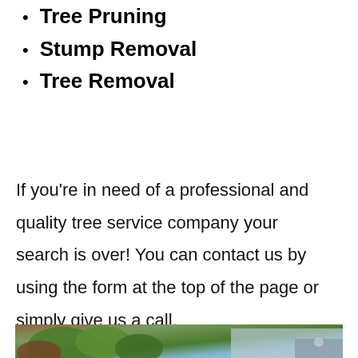Tree Pruning
Stump Removal
Tree Removal
If you're in need of a professional and quality tree service company your search is over! You can contact us by using the form at the top of the page or simply give us a call.
[Figure (photo): Outdoor photo showing green trees and shrubs in front of a house with blue/grey siding and a garage door visible]